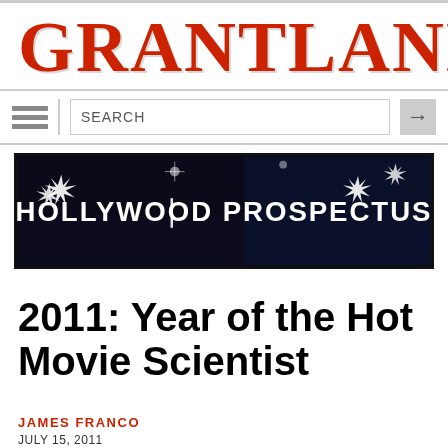GRANTLAND
[Figure (screenshot): Hollywood Prospectus banner image with starburst lights on dark background and white text reading HOLLYWOOD PROSPECTUS]
2011: Year of the Hot Movie Scientist
JAMES FRANCO
JULY 15, 2011